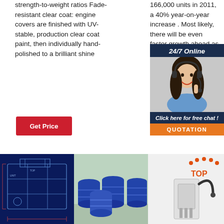strength-to-weight ratios Fade-resistant clear coat: engine covers are finished with UV-stable, production clear coat paint, then individually hand-polished to a brilliant shine
166,000 units in 2011, a 40% year-on-year increase . Most likely, there will be even fa... ahead genera... model...
[Figure (infographic): 24/7 Online chat popup with customer service agent photo, 'Click here for free chat!' text, and orange QUOTATION button]
[Figure (photo): Industrial machine blueprint/diagram on dark blue background]
[Figure (photo): Blue steel drums/barrels stacked in warehouse]
[Figure (photo): Industrial filling/dispensing machine with TOP branding]